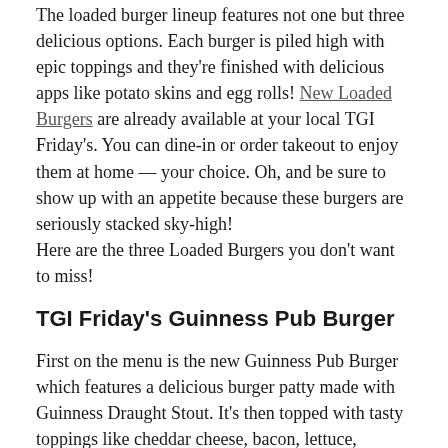The loaded burger lineup features not one but three delicious options. Each burger is piled high with epic toppings and they're finished with delicious apps like potato skins and egg rolls! New Loaded Burgers are already available at your local TGI Friday's. You can dine-in or order takeout to enjoy them at home — your choice. Oh, and be sure to show up with an appetite because these burgers are seriously stacked sky-high!
Here are the three Loaded Burgers you don't want to miss!
TGI Friday's Guinness Pub Burger
First on the menu is the new Guinness Pub Burger which features a delicious burger patty made with Guinness Draught Stout. It's then topped with tasty toppings like cheddar cheese, bacon, lettuce, tomato, red onions, pickles, and loaded with a savory beer-cheese sauce. Finally, the burger is finished with one of TGI Friday's famous Loaded Potato Skins!